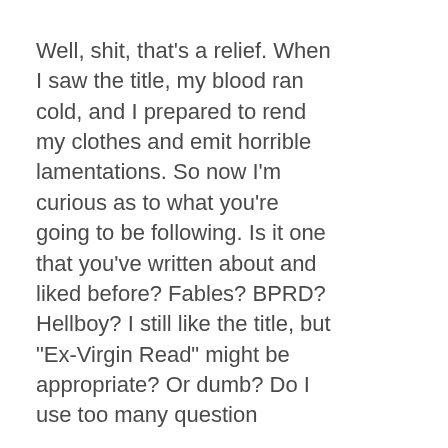Well, shit, that's a relief. When I saw the title, my blood ran cold, and I prepared to rend my clothes and emit horrible lamentations. So now I'm curious as to what you're going to be following. Is it one that you've written about and liked before? Fables? BPRD? Hellboy? I still like the title, but "Ex-Virgin Read" might be appropriate? Or dumb? Do I use too many question